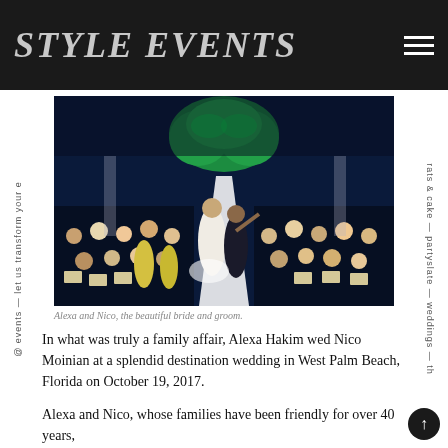STYLE EVENTS
[Figure (photo): Wedding photo of Alexa and Nico, a bride in a white gown and groom in a tuxedo walking down an outdoor aisle at night, surrounded by cheering guests, with a green floral arch lit up in the background.]
Alexa and Nico, the beautiful bride and groom.
In what was truly a family affair, Alexa Hakim wed Nico Moinian at a splendid destination wedding in West Palm Beach, Florida on October 19, 2017.
Alexa and Nico, whose families have been friendly for over 40 years,